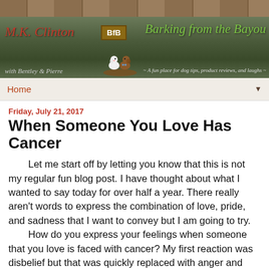[Figure (illustration): Blog header banner for 'Barking from the Bayou' by M.K. Clinton. Shows wooden plank background at top, bayou/swamp scene with two cartoon dogs on a log. Text: 'M.K. Clinton', 'BfB' logo, 'Barking from the Bayou', 'with Bentley & Pierre', '~ A fun place for dog tips, product reviews, and laughs ~']
Home ▼
Friday, July 21, 2017
When Someone You Love Has Cancer
Let me start off by letting you know that this is not my regular fun blog post. I have thought about what I wanted to say today for over half a year. There really aren't words to express the combination of love, pride, and sadness that I want to convey but I am going to try. How do you express your feelings when someone that you love is faced with cancer? My first reaction was disbelief but that was quickly replaced with anger and